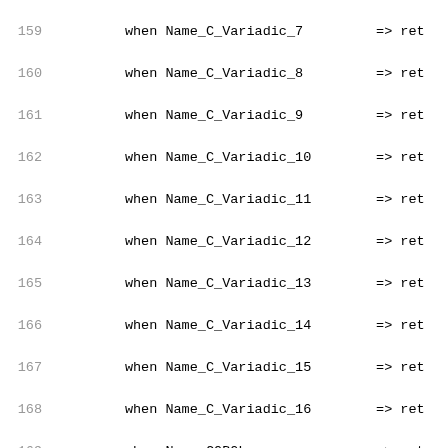Code listing lines 159-180 showing Ada/programming language case statements with Name_C_Variadic_7 through Name_Stubbed patterns, and a comment about direct match fallback with 'when others' clause
159    when Name_C_Variadic_7         => ret
160    when Name_C_Variadic_8         => ret
161    when Name_C_Variadic_9         => ret
162    when Name_C_Variadic_10        => ret
163    when Name_C_Variadic_11        => ret
164    when Name_C_Variadic_12        => ret
165    when Name_C_Variadic_13        => ret
166    when Name_C_Variadic_14        => ret
167    when Name_C_Variadic_15        => ret
168    when Name_C_Variadic_16        => ret
169    when Name_COBOL               => ret
170    when Name_CPP                  => ret
171    when Name_Fortran              => ret
172    when Name_Intrinsic            => ret
173    when Name_Stdcall              => ret
174    when Name_Stubbed              => ret
175
176    --  If no direct match, then we must ha
177    --  identifier pragma that has specifi
178
179    when others                    =>
180       for J in 1 .. Convention_Identifier